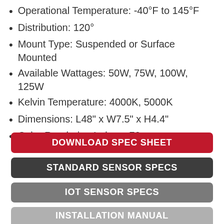Operational Temperature:  -40°F to 145°F
Distribution:  120°
Mount Type:  Suspended or Surface Mounted
Available Wattages:  50W, 75W, 100W, 125W
Kelvin Temperature:  4000K, 5000K
Dimensions:  L48" x W7.5" x H4.4"
Color Rendering Index:  >70
DOWNLOAD SPEC SHEET
STANDARD SENSOR SPECS
IOT SENSOR SPECS
INSTALLATION MANUAL